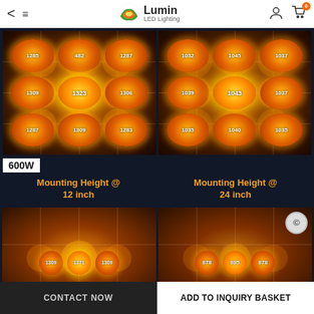Lumin LED Lighting
[Figure (infographic): LED grow light PPFD distribution map at two mounting heights. Left panel shows values: 1285, 482, 1287 (top row), 1309, 1323, 1306 (middle row), 1287, 1309, 1283 (bottom row). Right panel shows values: 1032, 1045, 1037 (top), 1039, 1043, 1037 (middle), 1035, 1040, 1035 (bottom).]
600W
[Figure (infographic): LED grow light PPFD distribution map for 600W unit. Left panel labeled Mounting Height @ 12 inch shows values: 1309, 1371, 1309. Right panel labeled Mounting Height @ 24 inch shows values: 878, 895, 878.]
CONTACT NOW | ADD TO INQUIRY BASKET